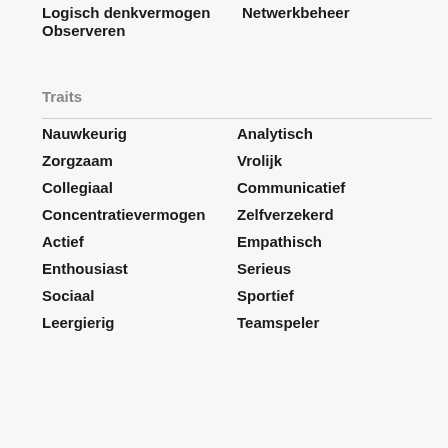Logisch denkvermogen
Netwerkbeheer
Observeren
Traits
Nauwkeurig
Analytisch
Zorgzaam
Vrolijk
Collegiaal
Communicatief
Concentratievermogen
Zelfverzekerd
Actief
Empathisch
Enthousiast
Serieus
Sociaal
Sportief
Leergierig
Teamspeler